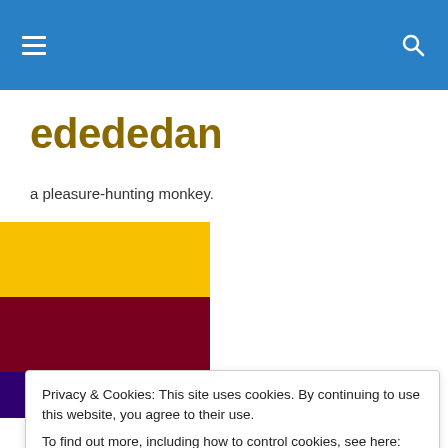[Navigation header with hamburger menu and search icon on blue background]
edededan
a pleasure-hunting monkey.
[Figure (illustration): Three horizontal color blocks stacked vertically: yellow (#F5C000), dark red/maroon (#7A0020), and dark purple (#2E0070)]
Privacy & Cookies: This site uses cookies. By continuing to use this website, you agree to their use.
To find out more, including how to control cookies, see here: Cookie Policy
[Close and accept button]
[Figure (photo): Partial view of outdoor nature/tree photograph at bottom of page]